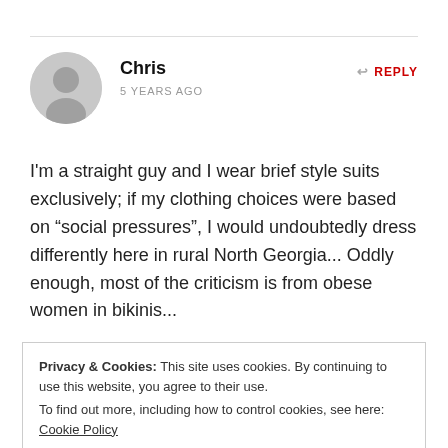Chris
5 YEARS AGO
REPLY
I'm a straight guy and I wear brief style suits exclusively; if my clothing choices were based on “social pressures”, I would undoubtedly dress differently here in rural North Georgia... Oddly enough, most of the criticism is from obese women in bikinis...
Privacy & Cookies: This site uses cookies. By continuing to use this website, you agree to their use.
To find out more, including how to control cookies, see here: Cookie Policy
Close and accept